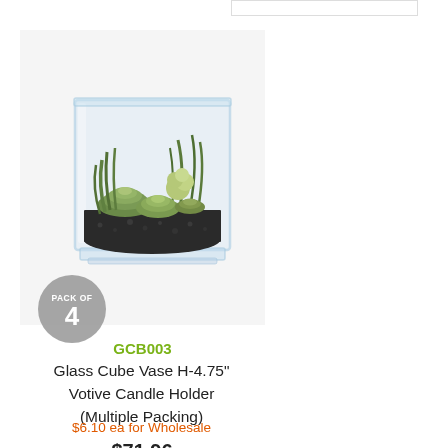[Figure (photo): Square glass cube vase containing artificial succulents and dark gravel, displayed on a light grey background. A circular grey badge in the bottom-left reads 'PACK OF 4'.]
GCB003
Glass Cube Vase H-4.75" Votive Candle Holder (Multiple Packing)
$6.10 ea for Wholesale
$71.96